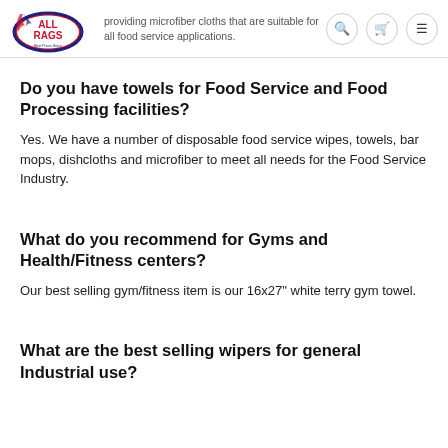providing microfiber cloths that are suitable for all food service applications.
Do you have towels for Food Service and Food Processing facilities?
Yes.  We have a number of disposable food service wipes, towels, bar mops, dishcloths and microfiber to meet all needs for the Food Service Industry.
What do you recommend for Gyms and Health/Fitness centers?
Our best selling gym/fitness item is our 16x27" white terry gym towel.
What are the best selling wipers for general Industrial use?